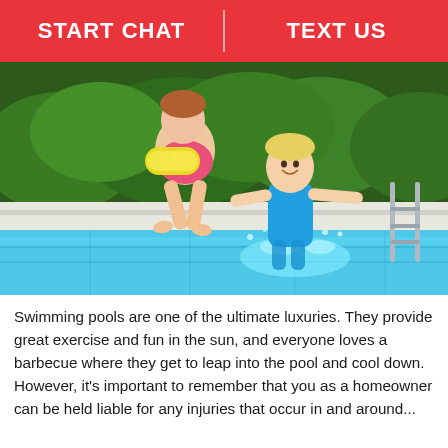START CHAT | TEXT US
[Figure (photo): Two children jumping into a swimming pool on a sunny day. One child wearing a colorful polka-dot swimsuit holds a yellow float and leaps in, while a younger child in a blue swimsuit splashes into the water near metal pool steps. Green hedges visible in the background.]
Swimming pools are one of the ultimate luxuries. They provide great exercise and fun in the sun, and everyone loves a barbecue where they get to leap into the pool and cool down. However, it's important to remember that you as a homeowner can be held liable for any injuries that occur in and around...